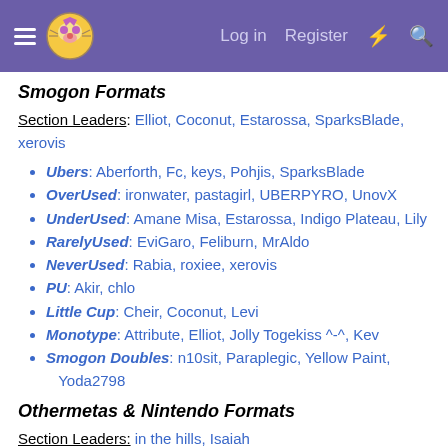Smogon Forums - Log in  Register
Smogon Formats
Section Leaders: Elliot, Coconut, Estarossa, SparksBlade, xerovis
Ubers: Aberforth, Fc, keys, Pohjis, SparksBlade
OverUsed: ironwater, pastagirl, UBERPYRO, UnovX
UnderUsed: Amane Misa, Estarossa, Indigo Plateau, Lily
RarelyUsed: EviGaro, Feliburn, MrAldo
NeverUsed: Rabia, roxiee, xerovis
PU: Akir, chlo
Little Cup: Cheir, Coconut, Levi
Monotype: Attribute, Elliot, Jolly Togekiss ^-^, Kev
Smogon Doubles: n10sit, Paraplegic, Yellow Paint, Yoda2798
Othermetas & Nintendo Formats
Section Leaders: in the hills, Isaiah